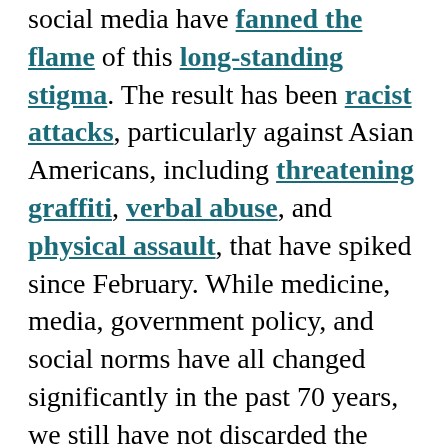social media have fanned the flame of this long-standing stigma. The result has been racist attacks, particularly against Asian Americans, including threatening graffiti, verbal abuse, and physical assault, that have spiked since February. While medicine, media, government policy, and social norms have all changed significantly in the past 70 years, we still have not discarded the shameful narrative connecting immigrants with disease that is central to the movie's plot.
[Figure (illustration): A historical illustration showing a figure in colorful costume, possibly a caricature drawing with a red hat and movement lines suggesting action.]